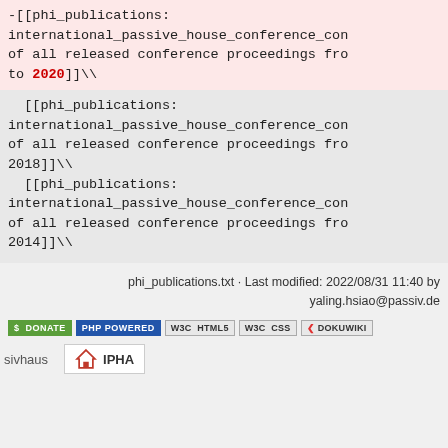-[[phi_publications:international_passive_house_conference_con of all released conference proceedings fro to 2020]]\
[[phi_publications:international_passive_house_conference_con of all released conference proceedings fro 2018]]\
[[phi_publications:international_passive_house_conference_con of all released conference proceedings fro 2014]]\
phi_publications.txt · Last modified: 2022/08/31 11:40 by yaling.hsiao@passiv.de